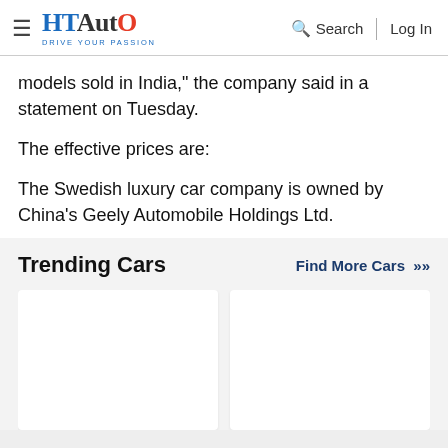HT Auto - Drive Your Passion | Search | Log In
models sold in India," the company said in a statement on Tuesday.
The effective prices are:
The Swedish luxury car company is owned by China's Geely Automobile Holdings Ltd.
Trending Cars
Find More Cars >>
[Figure (photo): Trending car card 1 - blank white card]
[Figure (photo): Trending car card 2 - blank white card]